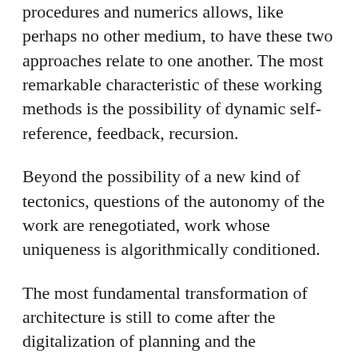procedures and numerics allows, like perhaps no other medium, to have these two approaches relate to one another. The most remarkable characteristic of these working methods is the possibility of dynamic self-reference, feedback, recursion.
Beyond the possibility of a new kind of tectonics, questions of the autonomy of the work are renegotiated, work whose uniqueness is algorithmically conditioned.
The most fundamental transformation of architecture is still to come after the digitalization of planning and the digitalization of production with the automation of building. The chance of this change lies in the chance to fundamentally rethink building materials and construction processes and thus to arrive at robotic